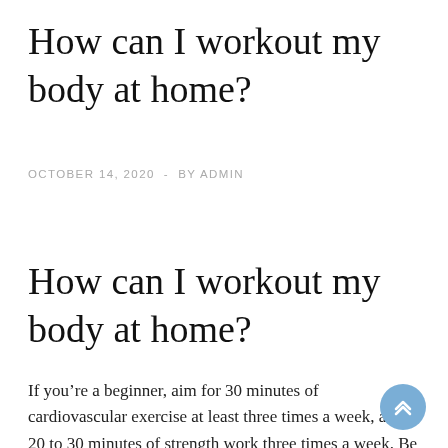How can I workout my body at home?
OCTOBER 14, 2020  -  BY ADMIN
How can I workout my body at home?
If you’re a beginner, aim for 30 minutes of cardiovascular exercise at least three times a week, and 20 to 30 minutes of strength work three times a week. Be sure your strength